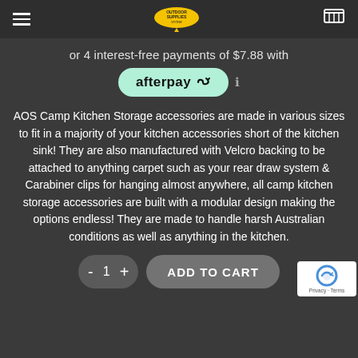Outdoor Supplies Store
or 4 interest-free payments of $7.88 with
[Figure (logo): Afterpay button/logo with teal background and rounded corners, showing 'afterpay' text with chain-link icon]
AOS Camp Kitchen Storage accessories are made in various sizes to fit in a majority of your kitchen accessories short of the kitchen sink! They are also manufactured with Velcro backing to be attached to anything carpet such as your rear draw system & Carabiner clips for hanging almost anywhere, all camp kitchen storage accessories are built with a modular design making the options endless! They are made to handle harsh Australian conditions as well as anything in the kitchen.
- 1 + ADD TO CART